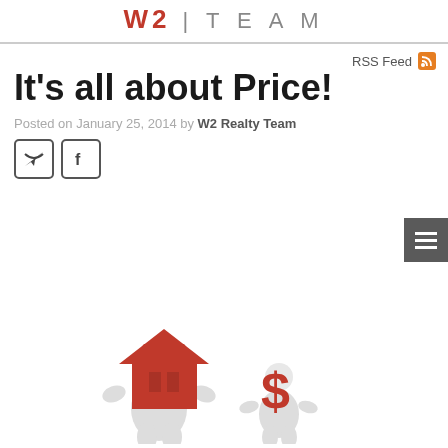W2 TEAM
RSS Feed
It's all about Price!
Posted on January 25, 2014 by W2 Realty Team
[Figure (illustration): Two white 3D figurines: one large holding a red house icon, one smaller holding a red dollar sign symbol.]